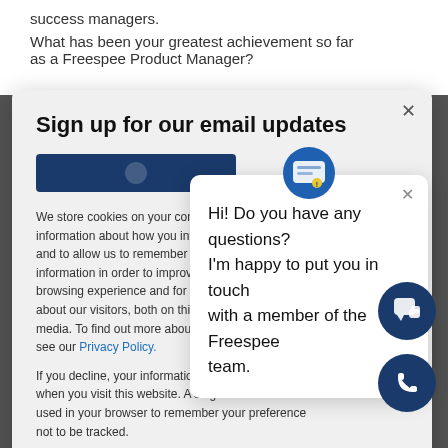success managers.
What has been your greatest achievement so far as a Freespee Product Manager?
Sign up for our email updates
We store cookies on your computer to collect information about how you interact with our website and to allow us to remember you. We use this information in order to improve and customise your browsing experience and for analytics and metrics about our visitors, both on this website and other media. To find out more about the cookies we use, see our Privacy Policy.
If you decline, your information won't be tracked when you visit this website. A single cookie will be used in your browser to remember your preference not to be tracked.
Hi! Do you have any questions? I'm happy to put you in touch with a member of the Freespee team.